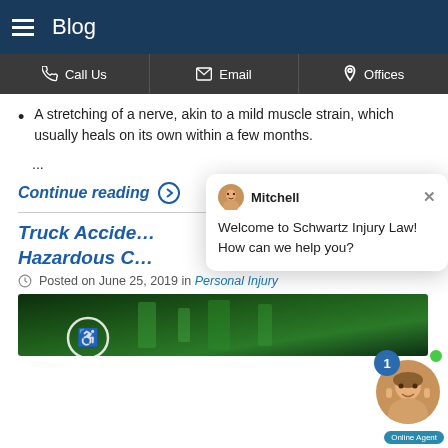Blog
Call Us | Email | Offices
A stretching of a nerve, akin to a mild muscle strain, which usually heals on its own within a few months.
...
Continue reading
Truck Accidents Involving Hazardous C...
Posted on June 25, 2019 in Personal Injury
[Figure (photo): Green illuminated truck or vehicle image, partially visible]
[Figure (screenshot): Chat popup from Mitchell at Schwartz Injury Law saying: Welcome to Schwartz Injury Law! How can we help you?]